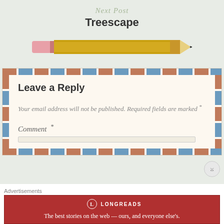Next Post
Treescape
[Figure (illustration): A yellow pencil illustration pointing right with a pink eraser on the left end and a dark pencil tip on the right end]
Leave a Reply
Your email address will not be published. Required fields are marked *
Comment *
Advertisements
[Figure (logo): Longreads advertisement banner — red background with Longreads logo and text: The best stories on the web — ours, and everyone else's.]